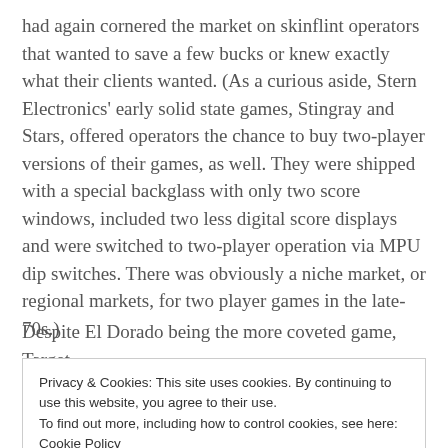had again cornered the market on skinflint operators that wanted to save a few bucks or knew exactly what their clients wanted. (As a curious aside, Stern Electronics' early solid state games, Stingray and Stars, offered operators the chance to buy two-player versions of their games, as well. They were shipped with a special backglass with only two score windows, included two less digital score displays and were switched to two-player operation via MPU dip switches. There was obviously a niche market, or regional markets, for two player games in the late-70s.)
Despite El Dorado being the more coveted game, Target
Privacy & Cookies: This site uses cookies. By continuing to use this website, you agree to their use.
To find out more, including how to control cookies, see here: Cookie Policy
possible as many unique materials are available to make